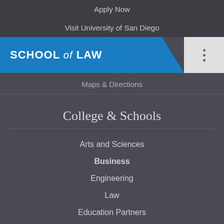Apply Now
Visit University of San Diego
SCHOOL of LAW
Maps & Directions
College & Schools
Arts and Sciences
Business
Engineering
Law
Education Partners
Leadership and Education
Nursing/Health
Peace Studies